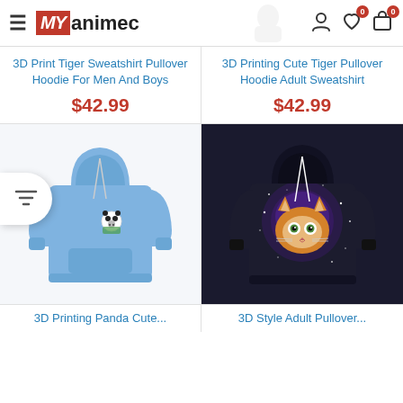MY animec — navigation header with hamburger menu, logo, user icon, wishlist (0), cart (0)
3D Print Tiger Sweatshirt Pullover Hoodie For Men And Boys
$42.99
3D Printing Cute Tiger Pullover Hoodie Adult Sweatshirt
$42.99
[Figure (photo): Light blue pullover hoodie with small panda anime print on left chest]
[Figure (photo): Black galaxy-print pullover hoodie featuring large cat face with space background]
3D Printing Panda Cute...
3D Style Adult Pullover...